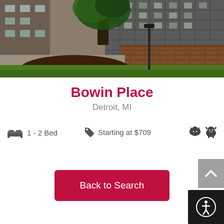[Figure (photo): Exterior photo of Bowin Place apartment building in Detroit, MI. Shows a multi-story concrete and brick building with a large tree, brick retaining wall, mulched garden area, and green grass in the foreground.]
Bowin Place
Detroit, MI
1 - 2 Bed
Starting at $709
Back to Search